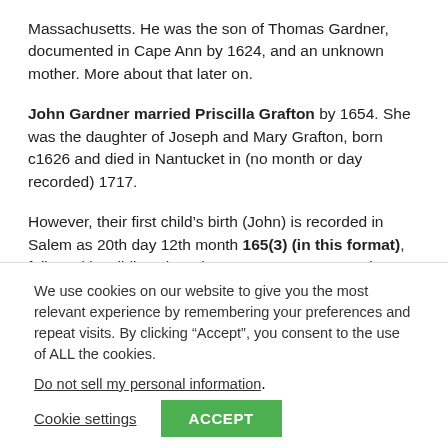Massachusetts. He was the son of Thomas Gardner, documented in Cape Ann by 1624, and an unknown mother. More about that later on.
John Gardner married Priscilla Grafton by 1654. She was the daughter of Joseph and Mary Grafton, born c1626 and died in Nantucket in (no month or day recorded) 1717.
However, their first child's birth (John) is recorded in Salem as 20th day 12th month 165(3) (in this format), followed by siblings born in 1655, 1656, 1658, and so on.
We use cookies on our website to give you the most relevant experience by remembering your preferences and repeat visits. By clicking “Accept”, you consent to the use of ALL the cookies.
Do not sell my personal information.
Cookie settings
ACCEPT